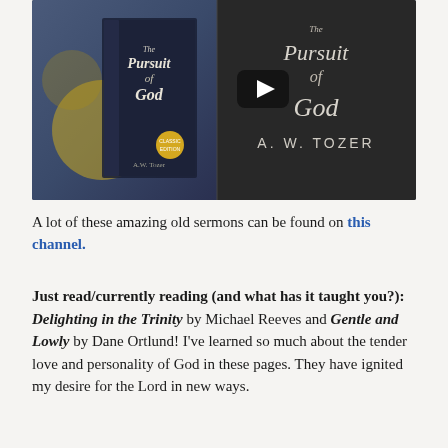[Figure (screenshot): A YouTube video thumbnail showing the book 'The Pursuit of God' by A. W. Tozer. On the left is the book cover with bokeh background, and on the right is a dark background with the title text and author name A. W. TOZER, with a YouTube play button overlay.]
A lot of these amazing old sermons can be found on this channel.
Just read/currently reading (and what has it taught you?): Delighting in the Trinity by Michael Reeves and Gentle and Lowly by Dane Ortlund! I've learned so much about the tender love and personality of God in these pages. They have ignited my desire for the Lord in new ways.